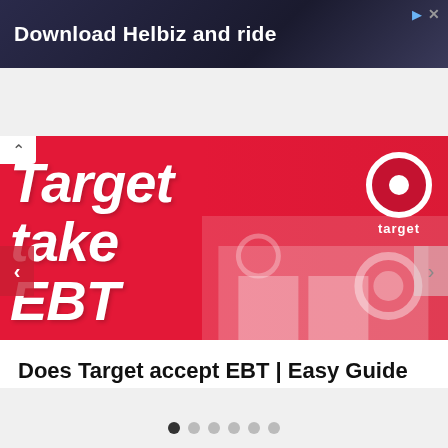[Figure (screenshot): Advertisement banner: 'Download Helbiz and ride' on dark background with play and close icons]
[Figure (screenshot): Target store promotional carousel slide with red background, bold white italic text 'Target take EBT', Target bullseye logo top-right, store facade visible on right side. Left arrow navigation button visible.]
Does Target accept EBT | Easy Guide
By Andrew E. Groat • February 6, 2021